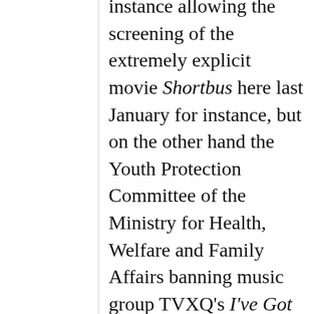instance allowing the screening of the extremely explicit movie Shortbus here last January for instance, but on the other hand the Youth Protection Committee of the Ministry for Health, Welfare and Family Affairs banning music group TVXQ's I've Got You Under My Skin from TV and radio at the same time (see #1 here for more info about both of those). When I spoke of corporate interests, I was primarily thinking of both that Ministry and also the